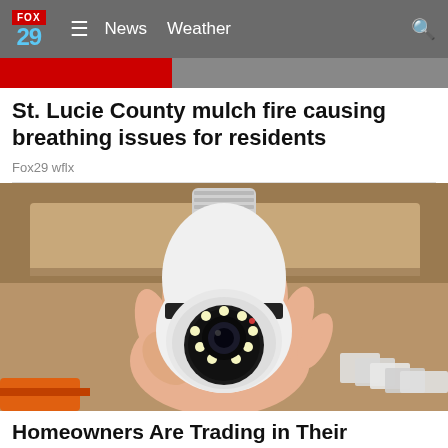FOX 29 News Weather
[Figure (photo): Red and gray image strip at top of news page]
St. Lucie County mulch fire causing breathing issues for residents
Fox29 wflx
[Figure (photo): A hand holding a white security camera shaped like a light bulb, with a screw base at top and a camera lens with LED lights in the center. Background shows shelves with boxes.]
Homeowners Are Trading in Their Doorbell